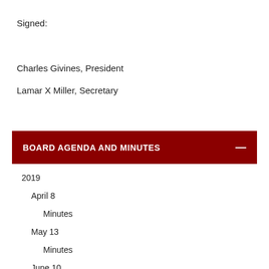Signed:
Charles Givines, President
Lamar X Miller, Secretary
BOARD AGENDA AND MINUTES
2019
April 8
Minutes
May 13
Minutes
June 10